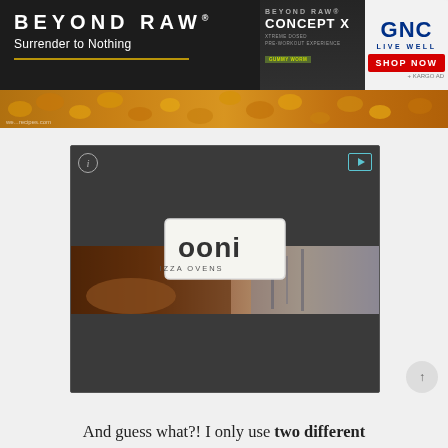[Figure (advertisement): Beyond Raw 'Surrender to Nothing' ad banner with Concept X product and GNC Live Well Shop Now button, over a mac and cheese food photo background]
[Figure (advertisement): Ooni Pizza Ovens video advertisement with dark background, info and play icons, and the Ooni Pizza Ovens logo badge centered]
And guess what?! I only use two different